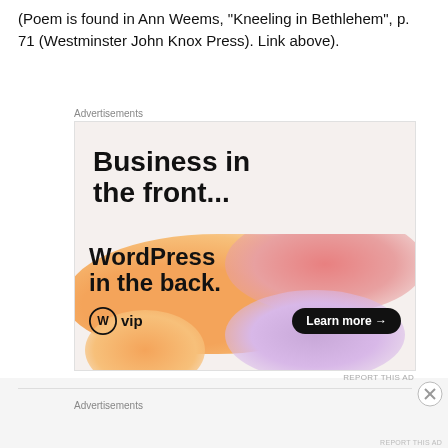(Poem is found in Ann Weems, "Kneeling in Bethlehem", p. 71 (Westminster John Knox Press). Link above).
[Figure (other): WordPress VIP advertisement. Top half has white/beige background with bold text 'Business in the front...'. Bottom half has an orange-pink-lavender gradient background with bold text 'WordPress in the back.' and a 'W vip' logo on the left and a dark 'Learn more →' button on the right.]
Advertisements
Advertisements